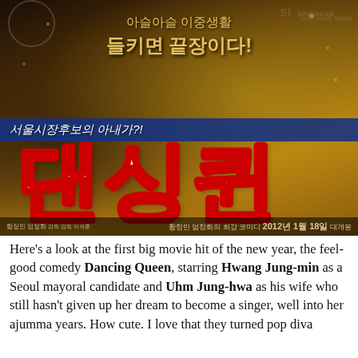[Figure (photo): Korean movie poster for 'Dancing Queen' (댄싱퀸), a 2012 comedy film. The poster shows a woman in a gold sequined dress with Korean text reading '아슬아슬 이중생활 들키면 끝장이다!' (Thrilling double life - caught means it's over!), a blue banner reading '서울시장후보의 아내가?!' (The wife of a Seoul mayoral candidate?!), and the large stylized title '댄싱퀸' (Dancing Queen) in white with red outline. Bottom credits mention 황정민 엄정화 최강 코미디 2012년 1월 18일 대개봉.]
Here's a look at the first big movie hit of the new year, the feel-good comedy Dancing Queen, starring Hwang Jung-min as a Seoul mayoral candidate and Uhm Jung-hwa as his wife who still hasn't given up her dream to become a singer, well into her ajumma years. How cute. I love that they turned pop diva